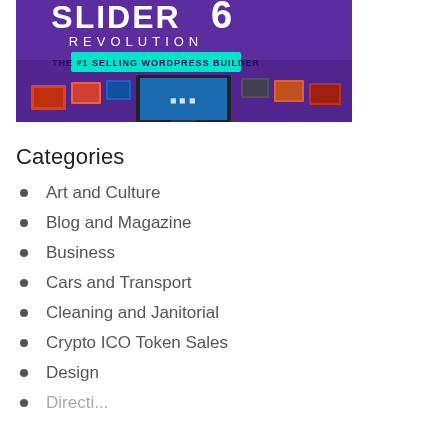[Figure (screenshot): Slider Revolution 6 banner showing 'THE #1 SELLING WORDPRESS BUILDER' with product screenshots on a purple background]
Categories
Art and Culture
Blog and Magazine
Business
Cars and Transport
Cleaning and Janitorial
Crypto ICO Token Sales
Design
Directions and listing (partial)